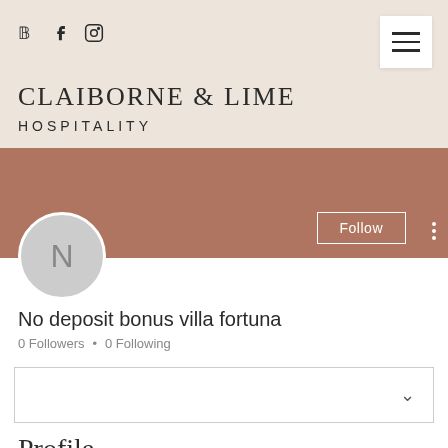[Figure (screenshot): Website header for Claiborne & Lime Hospitality with social icons (Pinterest, Facebook, Instagram), hamburger menu button, brand name and sub-brand text on beige background.]
CLAIBORNE & LIME HOSPITALITY
[Figure (screenshot): User profile section: terracotta/brown cover banner with Follow button and more options dots, circular avatar with letter N, profile name 'No deposit bonus villa fortuna', follower stats, dropdown box with chevron, and partial 'Profile' heading.]